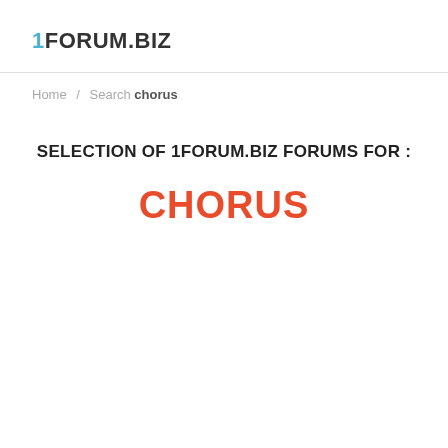1FORUM.BIZ
Home / Search chorus
SELECTION OF 1FORUM.BIZ FORUMS FOR :
CHORUS